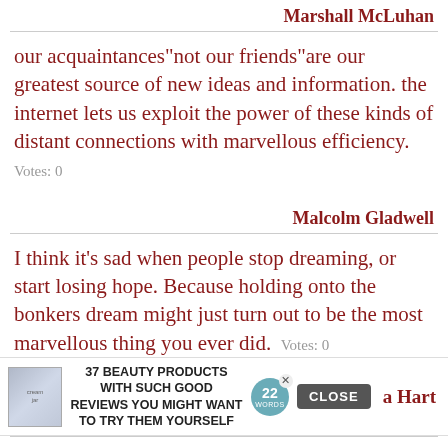Marshall McLuhan
our acquaintances"​not our friends"​are our greatest source of new ideas and information. the internet lets us exploit the power of these kinds of distant connections with marvellous efficiency.   Votes: 0
Malcolm Gladwell
I think it's sad when people stop dreaming, or start losing hope. Because holding onto the bonkers dream might just turn out to be the most marvellous thing you ever did.   Votes: 0
[Figure (screenshot): Advertisement banner: jar image, text '37 BEAUTY PRODUCTS WITH SUCH GOOD REVIEWS YOU MIGHT WANT TO TRY THEM YOURSELF', circular badge '22 WORDS', close X button, CLOSE button]
a Hart
I want to give my compliments to Australia. Ever since your government paid a few million